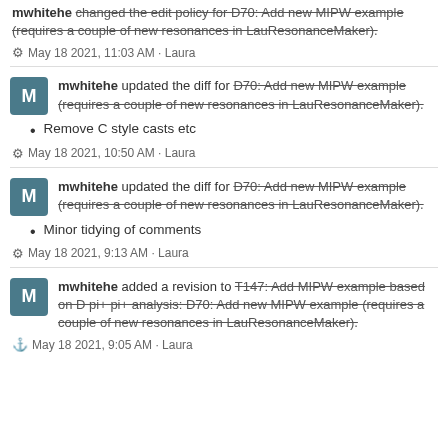mwhitehe changed the edit policy for D70: Add new MIPW example (requires a couple of new resonances in LauResonanceMaker).
⚙ May 18 2021, 11:03 AM · Laura
mwhitehe updated the diff for D70: Add new MIPW example (requires a couple of new resonances in LauResonanceMaker).
Remove C style casts etc
⚙ May 18 2021, 10:50 AM · Laura
mwhitehe updated the diff for D70: Add new MIPW example (requires a couple of new resonances in LauResonanceMaker).
Minor tidying of comments
⚙ May 18 2021, 9:13 AM · Laura
mwhitehe added a revision to T147: Add MIPW example based on D pi+ pi+ analysis: D70: Add new MIPW example (requires a couple of new resonances in LauResonanceMaker).
⚓ May 18 2021, 9:05 AM · Laura